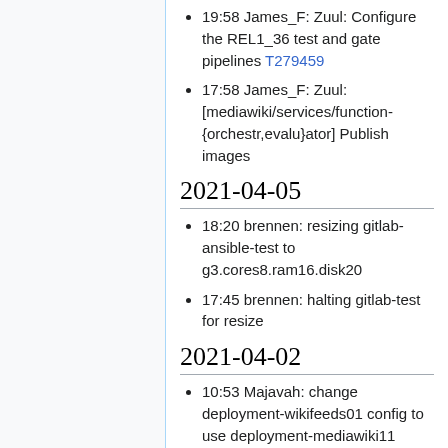19:58 James_F: Zuul: Configure the REL1_36 test and gate pipelines T279459
17:58 James_F: Zuul: [mediawiki/services/function-{orchestr,evalu}ator] Publish images
2021-04-05
18:20 brennen: resizing gitlab-ansible-test to g3.cores8.ram16.disk20
17:45 brennen: halting gitlab-test for resize
2021-04-02
10:53 Majavah: change deployment-wikifeeds01 config to use deployment-mediawiki11
10:47 Majavah: update web proxy